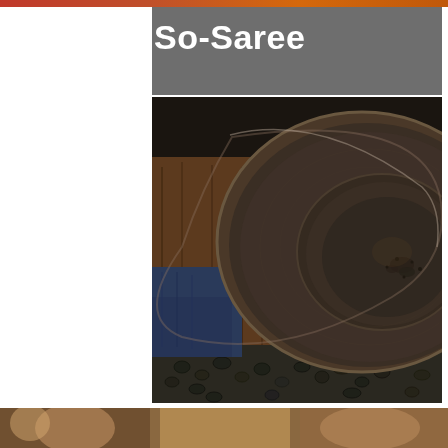So-Saree
[Figure (photo): Close-up photo of a dark seasoned iron/carbon steel wok or pan resting on a wooden surface, with small dark pebbles/coffee beans visible underneath. The pan has a matte dark finish with a raised center ring. Shot from above at an angle.]
[Figure (photo): Partial view of another photo at the bottom of the page, cut off — appears to show people or food items.]